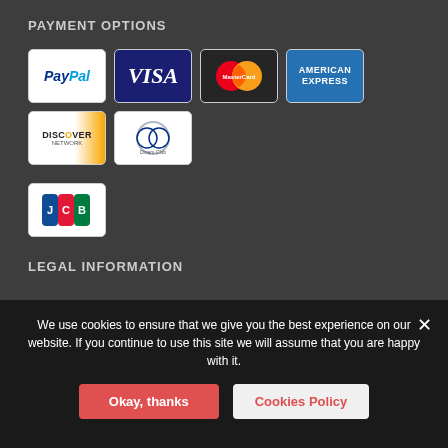PAYMENT OPTIONS
[Figure (infographic): Payment method logos: PayPal, Visa, MasterCard, American Express, Discover Network, Diners Club, JCB]
LEGAL INFORMATION
File Licenses
Terms and Conditions
Privacy Policy
We use cookies to ensure that we give you the best experience on our website. If you continue to use this site we will assume that you are happy with it.